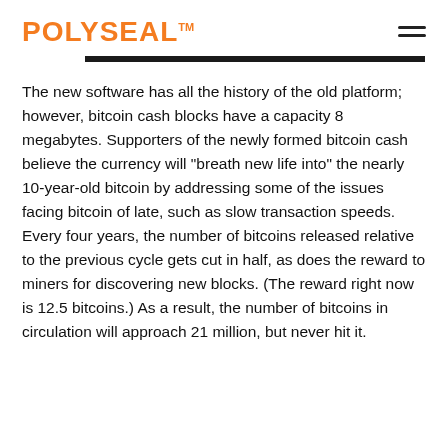POLYSEAL™
The new software has all the history of the old platform; however, bitcoin cash blocks have a capacity 8 megabytes. Supporters of the newly formed bitcoin cash believe the currency will "breath new life into" the nearly 10-year-old bitcoin by addressing some of the issues facing bitcoin of late, such as slow transaction speeds. Every four years, the number of bitcoins released relative to the previous cycle gets cut in half, as does the reward to miners for discovering new blocks. (The reward right now is 12.5 bitcoins.) As a result, the number of bitcoins in circulation will approach 21 million, but never hit it.